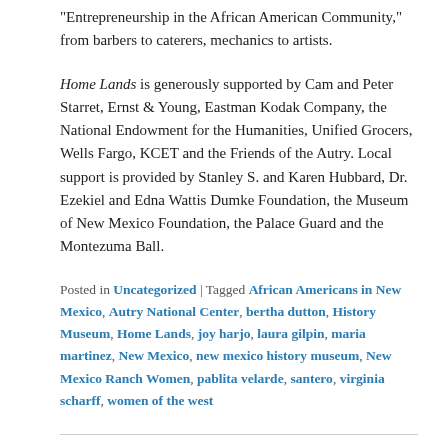“Entrepreneurship in the African American Community,” from barbers to caterers, mechanics to artists.
Home Lands is generously supported by Cam and Peter Starret, Ernst & Young, Eastman Kodak Company, the National Endowment for the Humanities, Unified Grocers, Wells Fargo, KCET and the Friends of the Autry. Local support is provided by Stanley S. and Karen Hubbard, Dr. Ezekiel and Edna Wattis Dumke Foundation, the Museum of New Mexico Foundation, the Palace Guard and the Montezuma Ball.
Posted in Uncategorized | Tagged African Americans in New Mexico, Autry National Center, bertha dutton, History Museum, Home Lands, joy harjo, laura gilpin, maria martinez, New Mexico, new mexico history museum, New Mexico Ranch Women, pablita velarde, santero, virginia scharff, women of the west
Al-Mutanabbi Street: